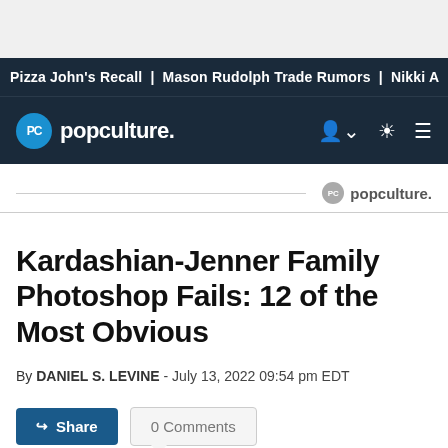Pizza John's Recall | Mason Rudolph Trade Rumors | Nikki A
PC popculture.
[Figure (logo): popculture. logo with PC circle icon in gray]
Kardashian-Jenner Family Photoshop Fails: 12 of the Most Obvious
By DANIEL S. LEVINE - July 13, 2022 09:54 pm EDT
Share | 0 Comments
The Kardashian and Jenner family has plenty of reasons to